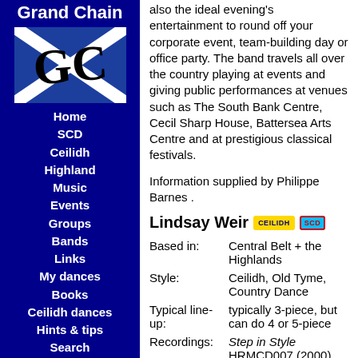Grand Chain
[Figure (logo): Scottish saltire (blue background with white diagonal cross) with stylized GC letters in black]
Home
SCD
Ceilidh
Highland
Music
Events
Groups
Bands
Links
My dances
Books
Ceilidh dances
Hints & tips
Search
Changes
The RSCDS
also the ideal evening's entertainment to round off your corporate event, team-building day or office party. The band travels all over the country playing at events and giving public performances at venues such as The South Bank Centre, Cecil Sharp House, Battersea Arts Centre and at prestigious classical festivals.
Information supplied by Philippe Barnes .
Lindsay Weir [CEILIDH] [SCD]
| Field | Value |
| --- | --- |
| Based in: | Central Belt + the Highlands |
| Style: | Ceilidh, Old Tyme, Country Dance |
| Typical line-up: | typically 3-piece, but can do 4 or 5-piece |
| Recordings: | Step in Style HRMCD007 (2000) |
| Contact: | Lindsay Weir |